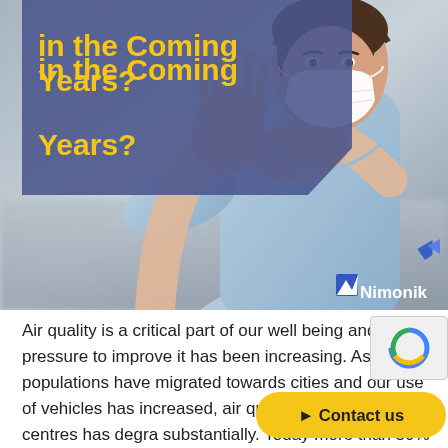[Figure (photo): A woman in a light blue jacket wearing a white face mask, holding one hand up as if to stop, photographed in an urban outdoor setting. A blue-purple title overlay box is in the upper left with yellow bold text reading 'in the Coming Years?' and the Nimonik logo with a blue geometric mark is in the lower right of the photo.]
in the Coming Years?
Air quality is a critical part of our well being and the pressure to improve it has been increasing. As populations have migrated towards cities and our use of vehicles has increased, air quality in our urban centres has degra substantially. Today more than 50% of the lives in cities and there are more than 1.1 billion cars on the